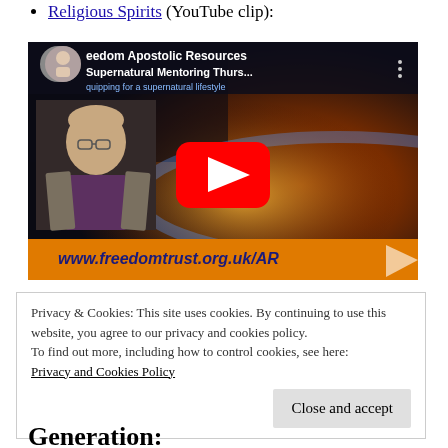Religious Spirits (YouTube clip):
[Figure (screenshot): YouTube video thumbnail for 'Supernatural Mentoring Thurs...' from Freedom Apostolic Resources channel, showing a man's face, space/planet background, red YouTube play button, and banner with www.freedomtrust.org.uk/AR]
Privacy & Cookies: This site uses cookies. By continuing to use this website, you agree to our privacy and cookies policy. To find out more, including how to control cookies, see here: Privacy and Cookies Policy
Generation: